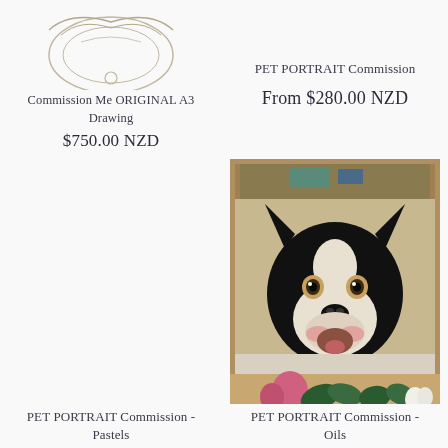[Figure (illustration): Partial sketch/drawing of a decorative illustration visible at top of page, left column]
Commission Me ORIGINAL A3 Drawing
$750.00 NZD
PET PORTRAIT Commission
From $280.00 NZD
[Figure (photo): Photo of a Boston Terrier dog portrait painting on an easel, with flowers visible at the bottom]
PET PORTRAIT Commission - Pastels
PET PORTRAIT Commission - Oils